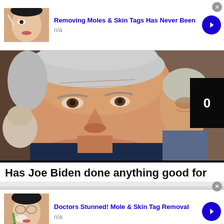[Figure (screenshot): Ad thumbnail showing woman with applicator near eye on white background]
Removing Moles & Skin Tags Has Never Been
n/a
[Figure (photo): Close-up photo of older man (Joe Biden) at a crowded event, with younger man smiling in background and video overlay showing '0']
Has Joe Biden done anything good for
[Figure (screenshot): Ad thumbnail showing woman with green applicator near nose/face]
Doctors Stunned! Mole & Skin Tag Removal
n/a